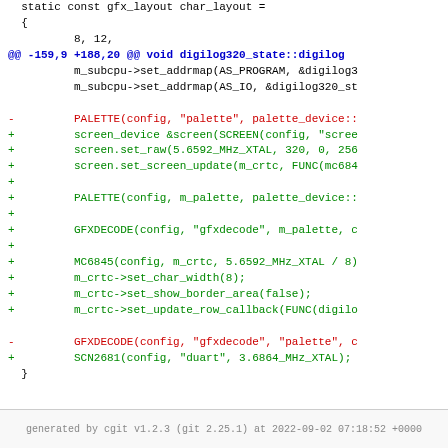[Figure (screenshot): Git diff code snippet showing changes to digilog320 driver source code, with added lines in green, removed lines in red, and diff hunk header in blue, on white background]
generated by cgit v1.2.3 (git 2.25.1) at 2022-09-02 07:18:52 +0000